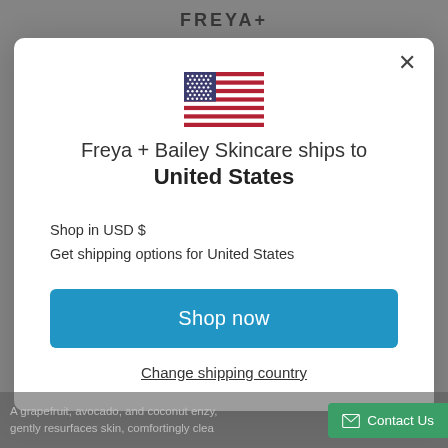FREYA+
[Figure (illustration): US flag icon centered in modal]
Freya + Bailey Skincare ships to United States
Shop in USD $
Get shipping options for United States
Shop now
Change shipping country
A grapefruit, avocado, and coconut enzy...
gently resurfaces skin, comfortingly clea...
Contact Us